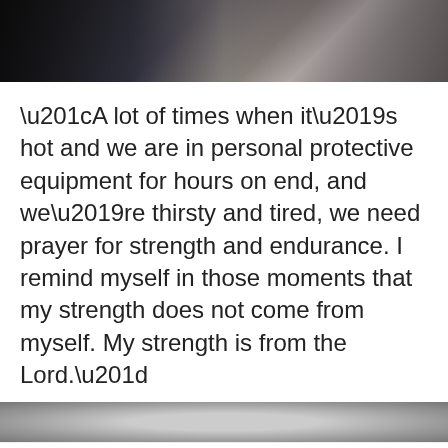[Figure (photo): Top portion of a photo showing people, partially visible, dark toned image]
“A lot of times when it’s hot and we are in personal protective equipment for hours on end, and we’re thirsty and tired, we need prayer for strength and endurance. I remind myself in those moments that my strength does not come from myself. My strength is from the Lord.”
[Figure (photo): Bottom portion of a photo, grayscale, partially visible]
This website uses cookies to improve your experience. We'll assume you're ok with this, but you can opt-out if you wish.
Accept  Read More  Reject